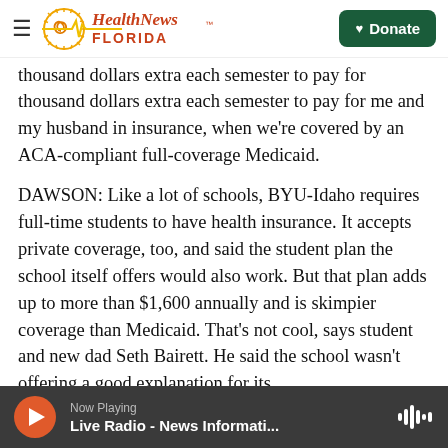Health News Florida — Donate
thousand dollars extra each semester to pay for me and my husband in insurance, when we're covered by an ACA-compliant full-coverage Medicaid.
DAWSON: Like a lot of schools, BYU-Idaho requires full-time students to have health insurance. It accepts private coverage, too, and said the student plan the school itself offers would also work. But that plan adds up to more than $1,600 annually and is skimpier coverage than Medicaid. That's not cool, says student and new dad Seth Bairett. He said the school wasn't offering a good explanation for its
Now Playing — Live Radio - News Informati...